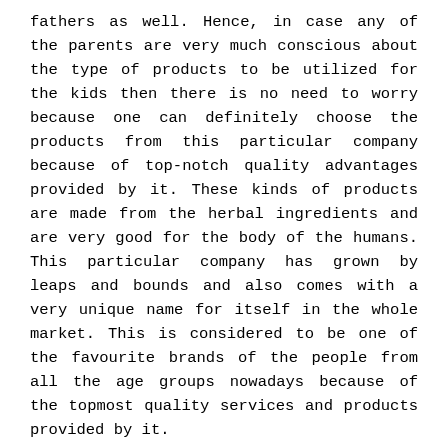fathers as well. Hence, in case any of the parents are very much conscious about the type of products to be utilized for the kids then there is no need to worry because one can definitely choose the products from this particular company because of top-notch quality advantages provided by it. These kinds of products are made from the herbal ingredients and are very good for the body of the humans. This particular company has grown by leaps and bounds and also comes with a very unique name for itself in the whole market. This is considered to be one of the favourite brands of the people from all the age groups nowadays because of the topmost quality services and products provided by it.
Following are some of the components of the broad product portfolio of this particular company:
1. This company helps in providing people with best